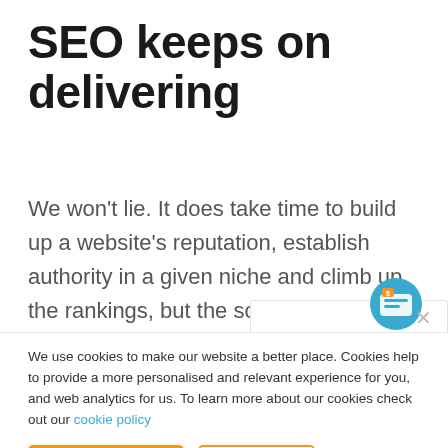SEO keeps on delivering
We won't lie. It does take time to build up a website's reputation, establish authority in a given niche and climb up the rankings, but the scale of the return is well worth the effort.
We use cookies to make our website a better place. Cookies help to provide a more personalised and relevant experience for you, and web analytics for us. To learn more about our cookies check out our cookie policy
Allow cookies
Decline